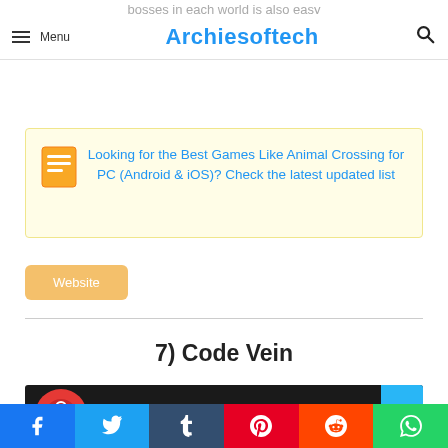bosses in each world is also easy
≡ Menu   Archiesoftech   🔍
Looking for the Best Games Like Animal Crossing for PC (Android & iOS)? Check the latest updated list
Website
7) Code Vein
[Figure (screenshot): Code Vein Review video thumbnail on dark background with red circular logo and three-dot menu, and blue up-arrow button on right]
Social share bar: Facebook, Twitter, Tumblr, Pinterest, Reddit, WhatsApp